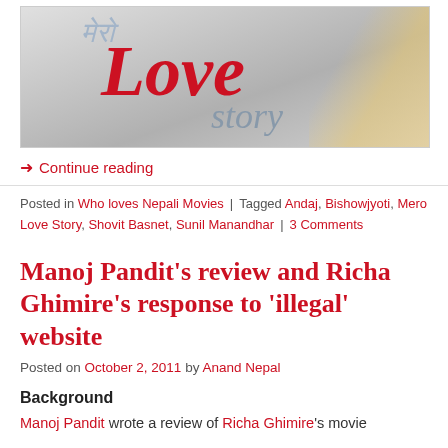[Figure (illustration): Movie banner for 'Mero Love Story' with stylized text. 'Mero' in light blue italic script at top, 'Love' in large bold red serif italic font, 'story' in grey-blue cursive. Background shows blurred figures.]
→ Continue reading
Posted in Who loves Nepali Movies | Tagged Andaj, Bishowjyoti, Mero Love Story, Shovit Basnet, Sunil Manandhar | 3 Comments
Manoj Pandit's review and Richa Ghimire's response to 'illegal' website
Posted on October 2, 2011 by Anand Nepal
Background
Manoj Pandit wrote a review of Richa Ghimire's movie